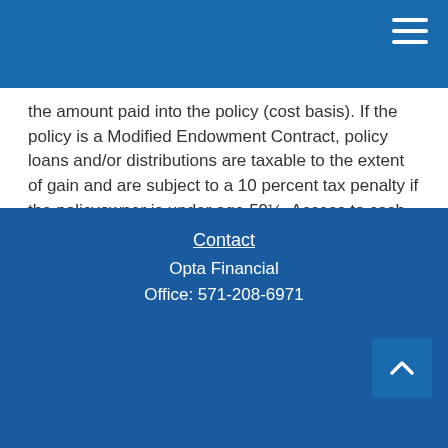the amount paid into the policy (cost basis). If the policy is a Modified Endowment Contract, policy loans and/or distributions are taxable to the extent of gain and are subject to a 10 percent tax penalty if the policyowner is under age 59½. Access to cash values through borrowing or partial surrenders will reduce the policy's cash value and death benefit, increase the chance the policy will lapse, and may result in a tax liability if the policy terminates before the death of the insured.
CRN202209-271451
Contact
Opta Financial
Office: 571-208-6971